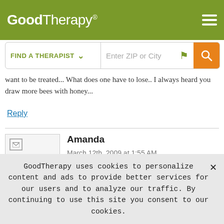GoodTherapy®
want to be treated... What does one have to lose.. I always heard you draw more bees with honey...
Reply
Amanda
March 12th, 2009 at 1:55 AM
It doesn't matter where you go or where you work, there is always that one person who gets under your skin, has a terrible attitude
GoodTherapy uses cookies to personalize content and ads to provide better services for our users and to analyze our traffic. By continuing to use this site you consent to our cookies.